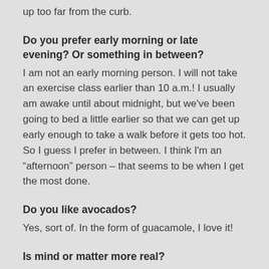up too far from the curb.
Do you prefer early morning or late evening?  Or something in between?
I am not an early morning person. I will not take an exercise class earlier than 10 a.m.! I usually am awake until about midnight, but we've been going to bed a little earlier so that we can get up early enough to take a walk before it gets too hot. So I guess I prefer in between. I think I'm an “afternoon” person – that seems to be when I get the most done.
Do you like avocados?
Yes, sort of. In the form of guacamole, I love it!
Is mind or matter more real?
What an odd question! Both are “real” – that is, both are